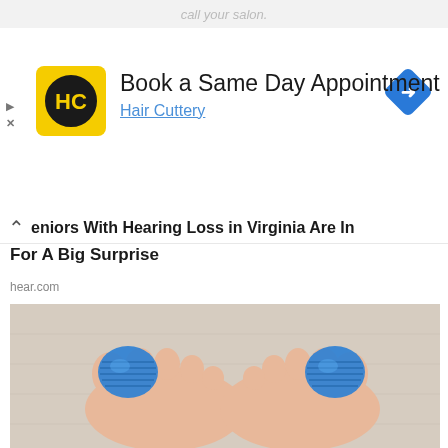call your salon.
[Figure (logo): Hair Cuttery logo: yellow square with HC initials in black circle]
Book a Same Day Appointment
Hair Cuttery
Seniors With Hearing Loss in Virginia Are In For A Big Surprise
hear.com
[Figure (photo): Two feet from above, each big toe wrapped in blue medical gauze/bandage, on a light wood floor background]